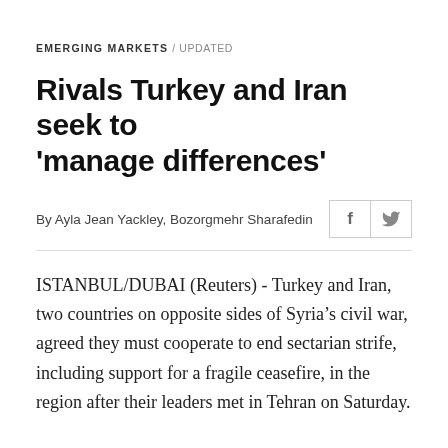EMERGING MARKETS
/ UPDATED
Rivals Turkey and Iran seek to 'manage differences'
By Ayla Jean Yackley, Bozorgmehr Sharafedin
ISTANBUL/DUBAI (Reuters) - Turkey and Iran, two countries on opposite sides of Syria’s civil war, agreed they must cooperate to end sectarian strife, including support for a fragile ceasefire, in the region after their leaders met in Tehran on Saturday.